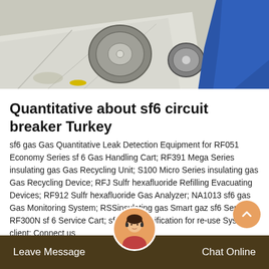[Figure (photo): Industrial/engineering photo showing metal disc equipment, white cloth/tarp on ground, and worker in blue clothing in background]
Quantitative about sf6 circuit breaker Turkey
sf6 gas Gas Quantitative Leak Detection Equipment for RF051 Economy Series sf 6 Gas Handling Cart; RF391 Mega Series insulating gas Gas Recycling Unit; S100 Micro Series insulating gas Gas Recycling Device; RFJ Sulfr hexafluoride Refilling Evacuating Devices; RF912 Sulfr hexafluoride Gas Analyzer; NA1013 sf6 gas Gas Monitoring System; RSSinsulating gas Smart gaz sf6 Sensor; RF300N sf 6 Service Cart; sf 6 Gas Purification for re-use System client; Connect us
Leave Message    Chat Online